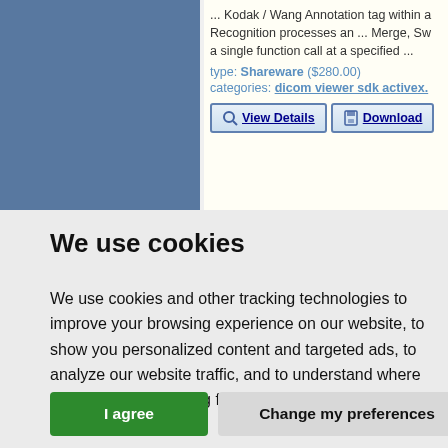[Figure (screenshot): Screenshot of a software listing with a blue square image placeholder on the left and text content on the right showing Kodak/Wang Annotation tag info, type: Shareware ($280.00), categories: dicom viewer sdk activex, with View Details and Download buttons.]
We use cookies
We use cookies and other tracking technologies to improve your browsing experience on our website, to show you personalized content and targeted ads, to analyze our website traffic, and to understand where our visitors are coming from.
I agree  Change my preferences